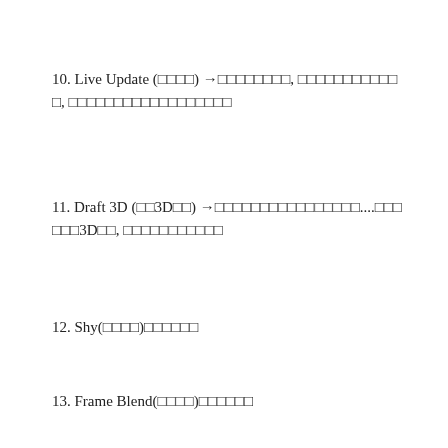10. Live Update (□□□□) →□□□□□□□□, □□□□□□□□□□□□, □□□□□□□□□□□□□□□□□□
11. Draft 3D (□□3D□□) →□□□□□□□□□□□□□□□□....□□□□□□3D□□, □□□□□□□□□□□□
12. Shy(□□□□)□□□□□□
13. Frame Blend(□□□□)□□□□□□